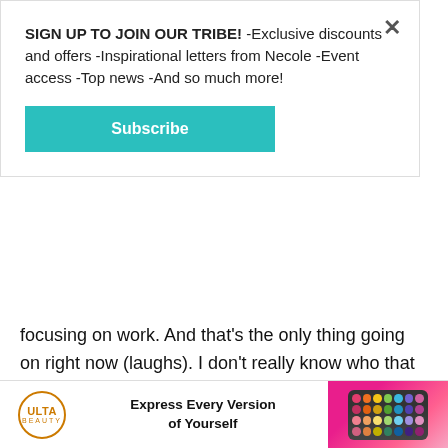SIGN UP TO JOIN OUR TRIBE! -Exclusive discounts and offers -Inspirational letters from Necole -Event access -Top news -And so much more!
[Figure (other): Teal Subscribe button]
focusing on work. And that's the only thing going on right now (laughs). I don't really know who that guy is. He hasn't been explored in some time, in a long time.
So, when you do get to that place where you maybe want to start looking for a relationship, what are some of your non-negotiables?
[Figure (other): Ulta Beauty advertisement banner: Express Every Version of Yourself, with makeup palette image]